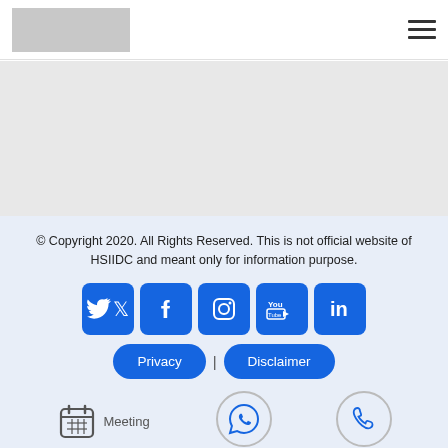[Figure (logo): Grey logo placeholder rectangle in top-left of header]
[Figure (other): Hamburger menu icon (three horizontal lines) in top-right of header]
[Figure (other): Light grey content/banner area below header]
© Copyright 2020. All Rights Reserved. This is not official website of HSIIDC and meant only for information purpose.
[Figure (other): Row of 5 blue rounded-square social media icons: Twitter, Facebook, Instagram, YouTube, LinkedIn]
[Figure (other): Privacy and Disclaimer blue rounded buttons with a pipe separator between them]
[Figure (other): Bottom action row with Meeting (calendar icon), Whatsapp (circle with phone-in-bubble icon), and Call (circle with phone icon)]